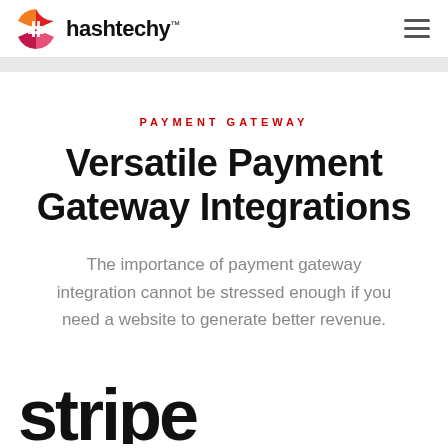hashtechy™
PAYMENT GATEWAY
Versatile Payment Gateway Integrations
The importance of payment gateway integration cannot be stressed enough if you need a website to generate better revenue.
[Figure (logo): Partial Stripe logo text visible at bottom of page]